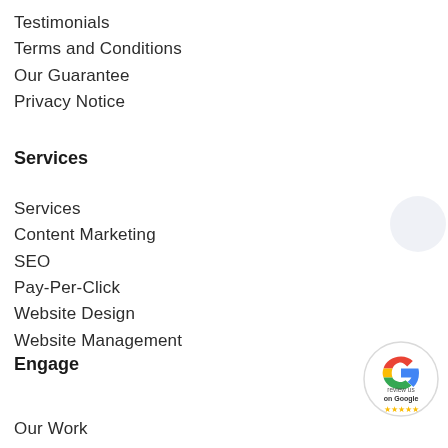Testimonials
Terms and Conditions
Our Guarantee
Privacy Notice
Services
Services
Content Marketing
SEO
Pay-Per-Click
Website Design
Website Management
Engage
Our Work
[Figure (logo): Google 'Review us on Google' badge with 5-star rating and Google logo]